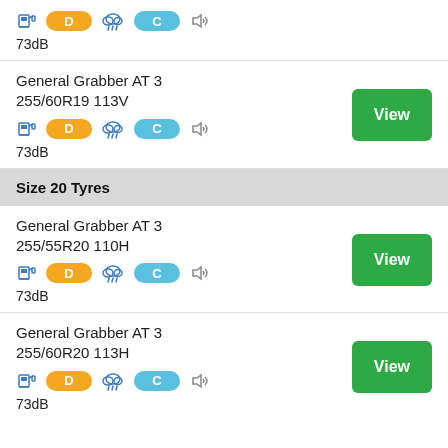73dB
General Grabber AT 3
255/60R19 113V
73dB
Size 20 Tyres
General Grabber AT 3
255/55R20 110H
73dB
General Grabber AT 3
255/60R20 113H
73dB